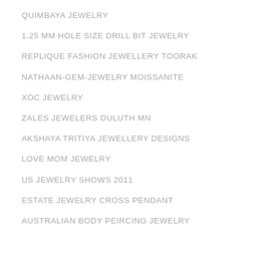QUIMBAYA JEWELRY
1.25 MM HOLE SIZE DRILL BIT JEWELRY
REPLIQUE FASHION JEWELLERY TOORAK
NATHAAN-GEM-JEWELRY MOISSANITE
XOC JEWELRY
ZALES JEWELERS DULUTH MN
AKSHAYA TRITIYA JEWELLERY DESIGNS
LOVE MOM JEWELRY
US JEWELRY SHOWS 2011
ESTATE JEWELRY CROSS PENDANT
AUSTRALIAN BODY PEIRCING JEWELRY